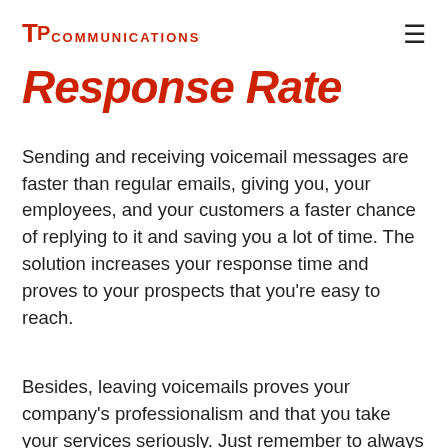TP COMMUNICATIONS
Response Rate
Sending and receiving voicemail messages are faster than regular emails, giving you, your employees, and your customers a faster chance of replying to it and saving you a lot of time. The solution increases your response time and proves to your prospects that you're easy to reach.
Besides, leaving voicemails proves your company's professionalism and that you take your services seriously. Just remember to always be ready to respond to customers in less than